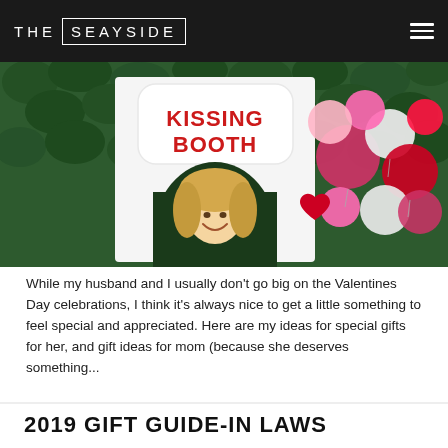THE SEAYSIDE
[Figure (photo): Woman smiling at a Kissing Booth photo backdrop with pink, red, and white balloons. A sign reads 'KISSING BOOTH' in red bold letters on a white board, with a green hedge background.]
While my husband and I usually don't go big on the Valentines Day celebrations, I think it's always nice to get a little something to feel special and appreciated. Here are my ideas for special gifts for her, and gift ideas for mom (because she deserves something...
2019 GIFT GUIDE-IN LAWS